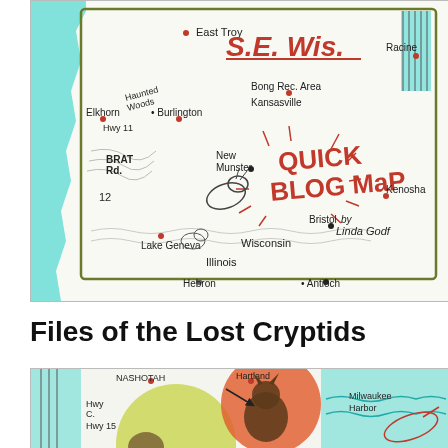[Figure (map): Hand-drawn illustrated map of S.E. Wisconsin showing locations: East Troy, Racine, Elkhorn, Haunted Woods, Burlington, Bong Rec. Area, Kansasville, New Munster, Quick Blog Map by Linda Godfrey (title), Kenosha, Bristol, Lake Geneva, Brat Rd., Hwy 11, Hwy 12, Illinois, Wisconsin, Hebron, Antioch. Features hand-drawn animals and decorative elements.]
Files of the Lost Cryptids
[Figure (illustration): Hand-drawn illustrated map/artwork showing cryptid creatures including a werewolf-like figure and sea creature, with locations Nashotah, Hartland, Milwaukee Harbor, Hwy C, Hwy 15 labeled. Features decorative colored circles in red, yellow, and blue/teal.]